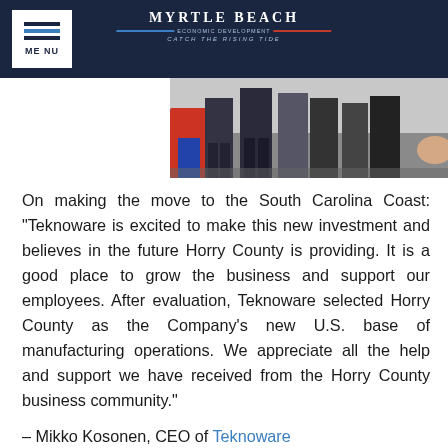MYRTLE BEACH | Catch the Rising Tide
[Figure (photo): Group of people standing outdoors, partial view of legs and a person in a red jacket]
On making the move to the South Carolina Coast: "Teknoware is excited to make this new investment and believes in the future Horry County is providing. It is a good place to grow the business and support our employees. After evaluation, Teknoware selected Horry County as the Company's new U.S. base of manufacturing operations. We appreciate all the help and support we have received from the Horry County business community."
– Mikko Kosonen, CEO of Teknoware
On adding a new location to its services: "I was attracted to